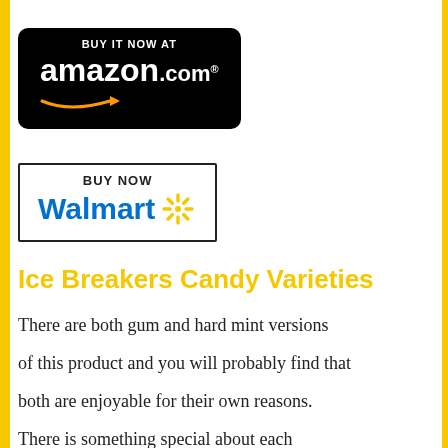[Figure (logo): Amazon.com Buy It Now button - black rounded rectangle with 'BUY IT NOW AT' text, amazon.com logo in white with orange arrow]
[Figure (logo): Walmart Buy Now button - white rectangle with black border, 'BUY NOW' text above Walmart logo in blue with yellow spark/asterisk]
Ice Breakers Candy Varieties
There are both gum and hard mint versions of this product and you will probably find that both are enjoyable for their own reasons. There is something special about each
variety and you can get fresher breath with